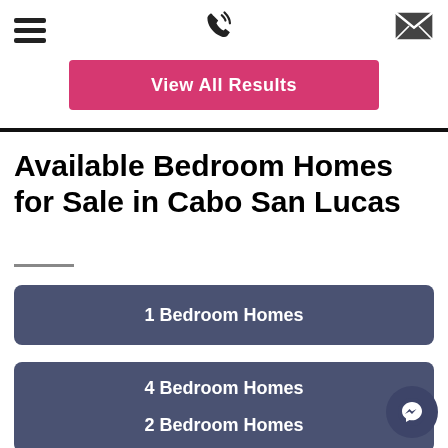Navigation bar with hamburger menu, phone icon, and mail icon
View All Results
Available Bedroom Homes for Sale in Cabo San Lucas
1 Bedroom Homes
4 Bedroom Homes
2 Bedroom Homes